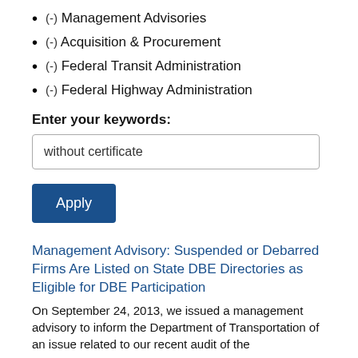(-) Management Advisories
(-) Acquisition & Procurement
(-) Federal Transit Administration
(-) Federal Highway Administration
Enter your keywords:
without certificate
Apply
Management Advisory: Suspended or Debarred Firms Are Listed on State DBE Directories as Eligible for DBE Participation
On September 24, 2013, we issued a management advisory to inform the Department of Transportation of an issue related to our recent audit of the